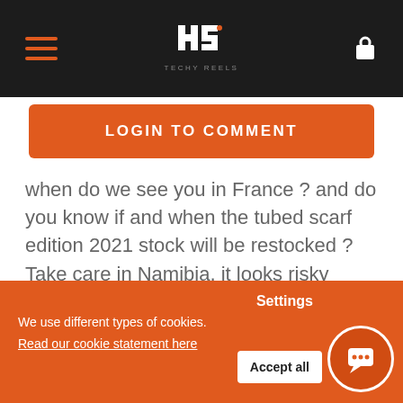TECHY REELS
LOGIN TO COMMENT
when do we see you in France ? and do you know if and when the tubed scarf edition 2021 stock will be restocked ? Take care in Namibia, it looks risky sometimes with ghost barrier posts...
Ayrton | 12 June 2021, 16:55
Settings
We use different types of cookies.
Read our cookie statement here
Accept all